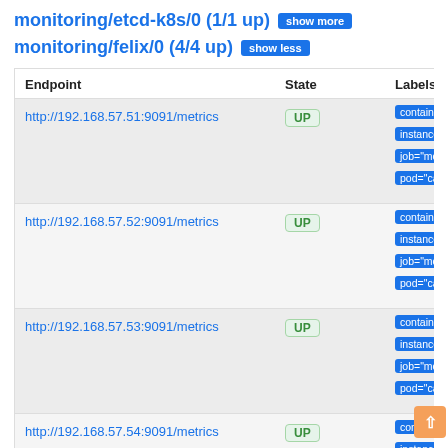monitoring/etcd-k8s/0 (1/1 up)  [show more]
monitoring/felix/0 (4/4 up)  [show less]
| Endpoint | State | Labels |
| --- | --- | --- |
| http://192.168.57.51:9091/metrics | UP | container=... instance=... job="moni... pod="calic... |
| http://192.168.57.52:9091/metrics | UP | container=... instance=... job="moni... pod="calic... |
| http://192.168.57.53:9091/metrics | UP | container=... instance=... job="moni... pod="calic... |
| http://192.168.57.54:9091/metrics | UP | container=... instance=... job="moni... pod="calic... |